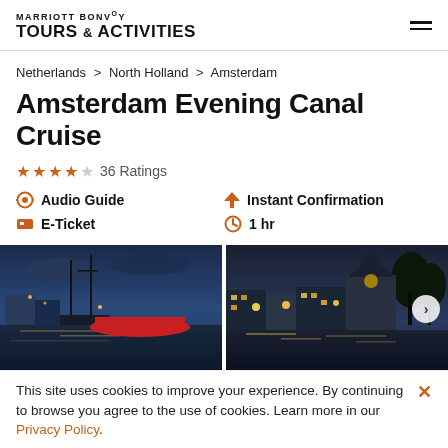MARRIOTT BONVOY TOURS & ACTIVITIES
Netherlands > North Holland > Amsterdam
Amsterdam Evening Canal Cruise
★★★★ 36 Ratings
Audio Guide  Instant Confirmation  E-Ticket  1 hr
[Figure (photo): Evening photo of Amsterdam canal with tall ship and illuminated buildings at dusk]
[Figure (photo): Evening photo of Amsterdam canal with illuminated historic buildings and church at dusk]
This site uses cookies to improve your experience. By continuing to browse you agree to the use of cookies. Learn more in our Privacy Policy.